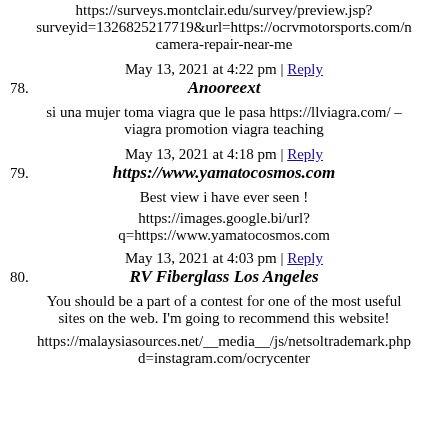https://surveys.montclair.edu/survey/preview.jsp?surveyid=1326825217719&url=https://ocrvmotorsports.com/n camera-repair-near-me
May 13, 2021 at 4:22 pm | Reply
78. Anooreext
si una mujer toma viagra que le pasa https://llviagra.com/ – viagra promotion viagra teaching
May 13, 2021 at 4:18 pm | Reply
79. https://www.yamatocosmos.com
Best view i have ever seen !
https://images.google.bi/url?q=https://www.yamatocosmos.com
May 13, 2021 at 4:03 pm | Reply
80. RV Fiberglass Los Angeles
You should be a part of a contest for one of the most useful sites on the web. I'm going to recommend this website!
https://malaysiasources.net/__media__/js/netsoltrademark.php d=instagram.com/ocrycenter